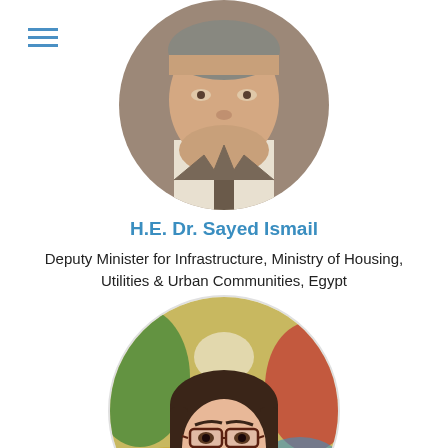[Figure (photo): Circular portrait photo of H.E. Dr. Sayed Ismail, an older man in a suit, partially cropped at top of page]
H.E. Dr. Sayed Ismail
Deputy Minister for Infrastructure, Ministry of Housing, Utilities & Urban Communities, Egypt
[Figure (photo): Circular portrait photo of a woman with glasses and dark hair, smiling, in front of a colorful background, partially cropped at bottom of page]